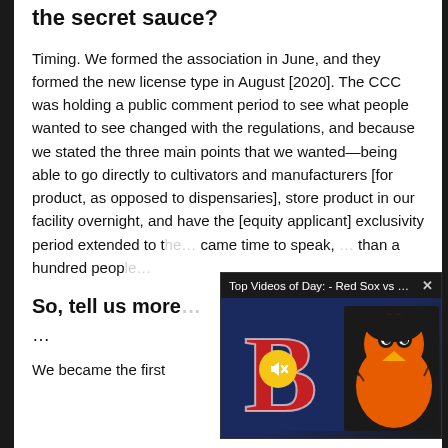the secret sauce?
Timing. We formed the association in June, and they formed the new license type in August [2020]. The CCC was holding a public comment period to see what people wanted to see changed with the regulations, and because we stated the three main points that we wanted—being able to go directly to cultivators and manufacturers [for product, as opposed to dispensaries], store product in our facility overnight, and have the [equity applicant] exclusivity period extended to t… came time to speak, than a hundred peop…
[Figure (screenshot): Video overlay popup showing 'Top Videos of Day: - Red Sox vs Orioles ...' with a thumbnail of Red Sox and Orioles logos on a dark baseball stadium background, with a mute button and close X button.]
So, tell us more…
...
We became the first…